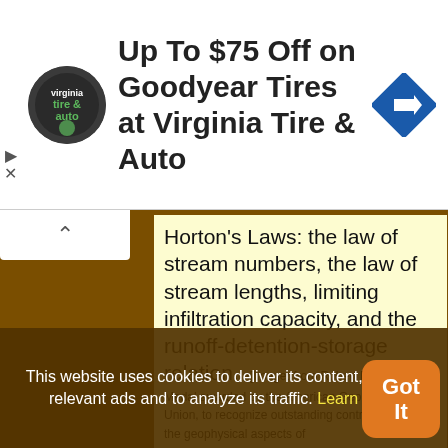[Figure (screenshot): Advertisement banner: Up To $75 Off on Goodyear Tires at Virginia Tire & Auto, with circular logo and blue diamond direction arrow icon]
Horton's Laws: the law of stream numbers, the law of stream lengths, limiting infiltration capacity, and the runoff-detention-storage relation.
«[Image: from Robert E. Horton Medal awarded by the American Geophysical Union, to recognize outstanding contributions to the geophysical aspects of
This website uses cookies to deliver its content, to show relevant ads and to analyze its traffic. Learn More
[Figure (screenshot): Got It button - orange rounded rectangle with white text]